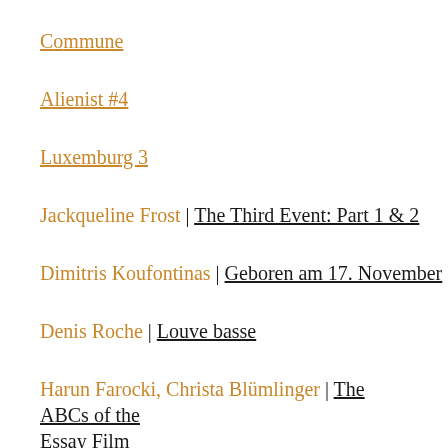Commune
Alienist #4
Luxemburg 3
Jackqueline Frost | The Third Event: Part 1 & 2
Dimitris Koufontinas | Geboren am 17. November
Denis Roche | Louve basse
Harun Farocki, Christa Blümlinger | The ABCs of the Essay Film